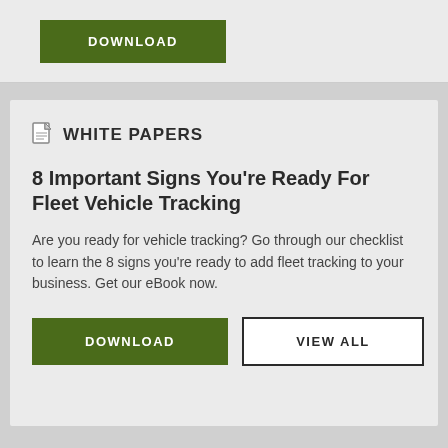[Figure (other): Green DOWNLOAD button at top of page (partial card visible)]
WHITE PAPERS
8 Important Signs You're Ready For Fleet Vehicle Tracking
Are you ready for vehicle tracking? Go through our checklist to learn the 8 signs you're ready to add fleet tracking to your business. Get our eBook now.
[Figure (other): Green DOWNLOAD button and outlined VIEW ALL button]
[Figure (other): Document icon (white paper icon) next to WHITE PAPERS heading]